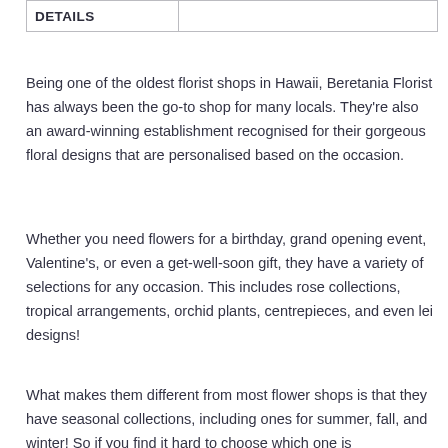| DETAILS |  |
| --- | --- |
|  |
Being one of the oldest florist shops in Hawaii, Beretania Florist has always been the go-to shop for many locals. They're also an award-winning establishment recognised for their gorgeous floral designs that are personalised based on the occasion.
Whether you need flowers for a birthday, grand opening event, Valentine's, or even a get-well-soon gift, they have a variety of selections for any occasion. This includes rose collections, tropical arrangements, orchid plants, centrepieces, and even lei designs!
What makes them different from most flower shops is that they have seasonal collections, including ones for summer, fall, and winter! So if you find it hard to choose which one is